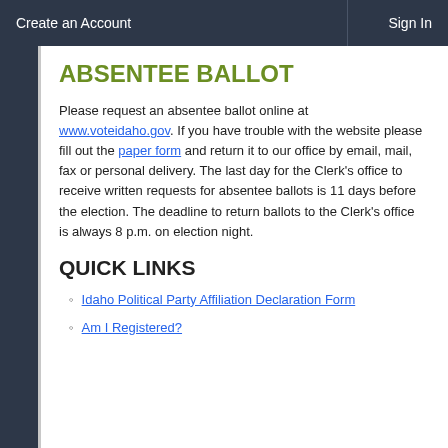Create an Account    Sign In
ABSENTEE BALLOT
Please request an absentee ballot online at www.voteidaho.gov. If you have trouble with the website please fill out the paper form and return it to our office by email, mail, fax or personal delivery. The last day for the Clerk's office to receive written requests for absentee ballots is 11 days before the election. The deadline to return ballots to the Clerk's office is always 8 p.m. on election night.
QUICK LINKS
Idaho Political Party Affiliation Declaration Form
Am I Registered?